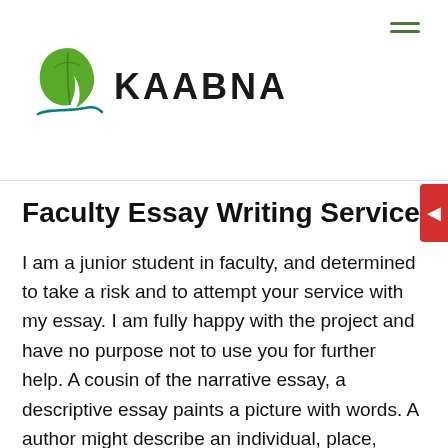[Figure (logo): Kaabna logo with green leaf SVG and teal underline swirl]
Faculty Essay Writing Service
I am a junior student in faculty, and determined to take a risk and to attempt your service with my essay. I am fully happy with the project and have no purpose not to use you for further help. A cousin of the narrative essay, a descriptive essay paints a picture with words. A author might describe an individual, place, object, or even reminiscence of special significance. However, this sort of essay isn't